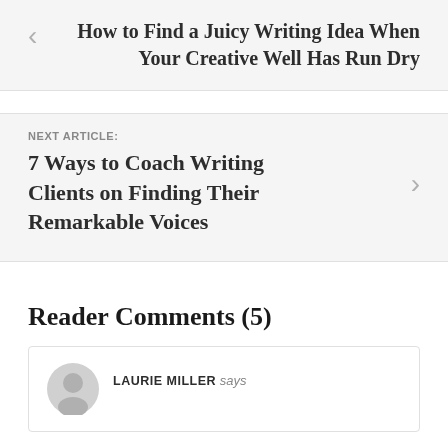How to Find a Juicy Writing Idea When Your Creative Well Has Run Dry
NEXT ARTICLE:
7 Ways to Coach Writing Clients on Finding Their Remarkable Voices
Reader Comments (5)
LAURIE MILLER says